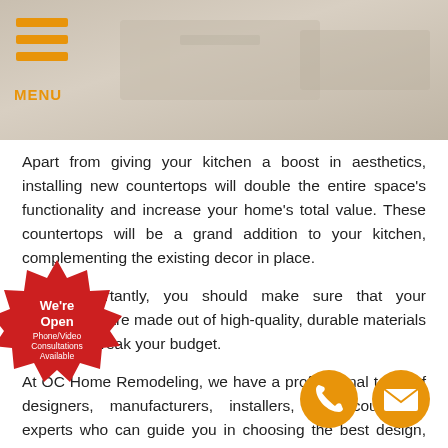[Figure (screenshot): Header area with a blurred kitchen background image and a hamburger menu icon with orange bars and 'MENU' label in orange]
Apart from giving your kitchen a boost in aesthetics, installing new countertops will double the entire space's functionality and increase your home's total value. These countertops will be a grand addition to your kitchen, complementing the existing decor in place.
More importantly, you should make sure that your countertops are made out of high-quality, durable materials that won't break your budget.
At OC Home Remodeling, we have a professional team of designers, manufacturers, installers, and countertop experts who can guide you in choosing the best design, and layout for your dream kitchen or even offer a free consultation in the initial stage of making all the necessary information for us to with the best plan that fits your budget, on,
[Figure (illustration): Red starburst badge with 'We're Open Phone/Video Consultations Available' text in white]
[Figure (illustration): Orange circle phone icon]
[Figure (illustration): Orange circle email envelope icon]